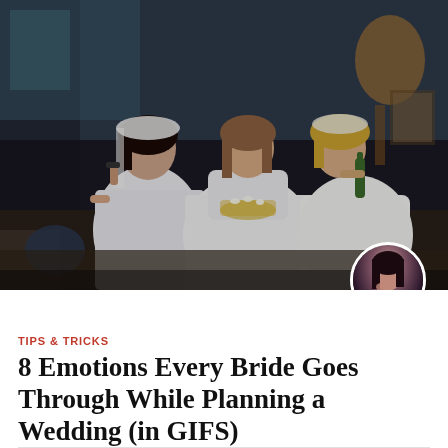[Figure (photo): Three women dressed in wedding gowns with veils sitting on a couch, one talking on phone, one holding popcorn, one drinking from a bottle — a scene from the TV show Friends]
TIPS & TRICKS
8 Emotions Every Bride Goes Through While Planning a Wedding (in GIFS)
Sonia Reynolds  |  Jan 31, 2020  |  (0)